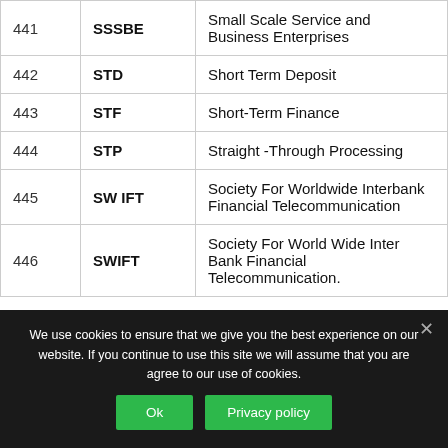| 441 | SSSBE | Small Scale Service and Business Enterprises |
| 442 | STD | Short Term Deposit |
| 443 | STF | Short-Term Finance |
| 444 | STP | Straight -Through Processing |
| 445 | SW IFT | Society For Worldwide Interbank Financial Telecommunication |
| 446 | SWIFT | Society For World Wide Inter Bank Financial Telecommunication. |
We use cookies to ensure that we give you the best experience on our website. If you continue to use this site we will assume that you are agree to our use of cookies.